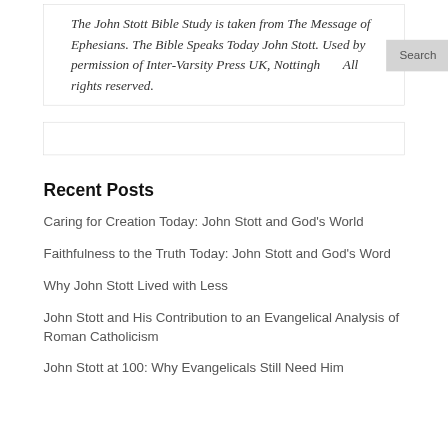The John Stott Bible Study is taken from The Message of Ephesians. The Bible Speaks Today John Stott. Used by permission of Inter-Varsity Press UK, Nottingham. All rights reserved.
Recent Posts
Caring for Creation Today: John Stott and God's World
Faithfulness to the Truth Today: John Stott and God's Word
Why John Stott Lived with Less
John Stott and His Contribution to an Evangelical Analysis of Roman Catholicism
John Stott at 100: Why Evangelicals Still Need Him